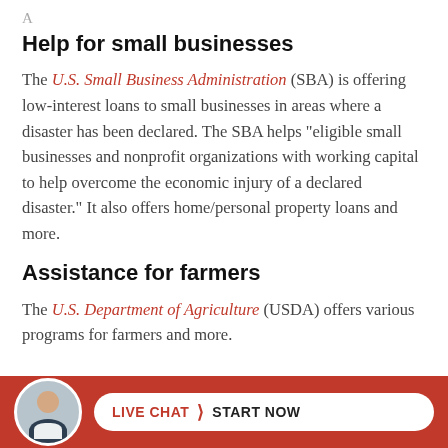Help for small businesses
The U.S. Small Business Administration (SBA) is offering low-interest loans to small businesses in areas where a disaster has been declared. The SBA helps “eligible small businesses and nonprofit organizations with working capital to help overcome the economic injury of a declared disaster.” It also offers home/personal property loans and more.
Assistance for farmers
The U.S. Department of Agriculture (USDA) offers various programs for farmers and more.
[Figure (other): Live chat banner at bottom with avatar photo of a man in suit, red background, white pill-shaped button reading LIVE CHAT with chevron and START NOW]